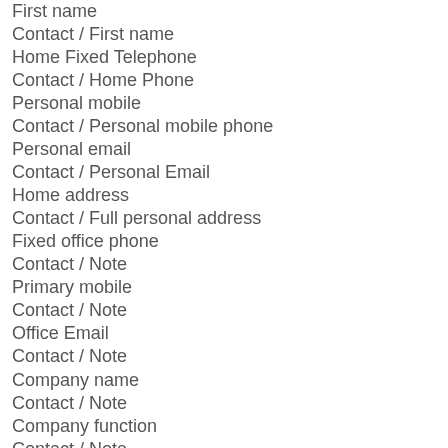First name
Contact / First name
Home Fixed Telephone
Contact / Home Phone
Personal mobile
Contact / Personal mobile phone
Personal email
Contact / Personal Email
Home address
Contact / Full personal address
Fixed office phone
Contact / Note
Primary mobile
Contact / Note
Office Email
Contact / Note
Company name
Contact / Note
Company function
Contact / Note